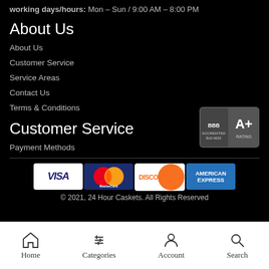working days/hours: Mon – Sun / 9:00 AM – 8:00 PM
About Us
About Us
Customer Service
Service Areas
Contact Us
Terms & Conditions
[Figure (logo): BBB Accredited Business A+ Rating badge]
Customer Service
Payment Methods
[Figure (infographic): Payment method logos: Visa, MasterCard, Discover, American Express]
© 2021, 24 Hour Caskets. All Rights Reserved
Home  Categories  Account  Search